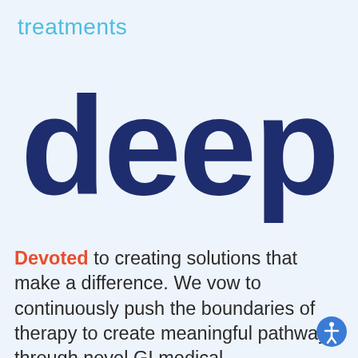treatments
deep
Devoted to creating solutions that make a difference. We vow to continuously push the boundaries of therapy to create meaningful pathways through novel GI medical
[Figure (illustration): Accessibility icon button (person with arms out in circle) in bottom right corner]